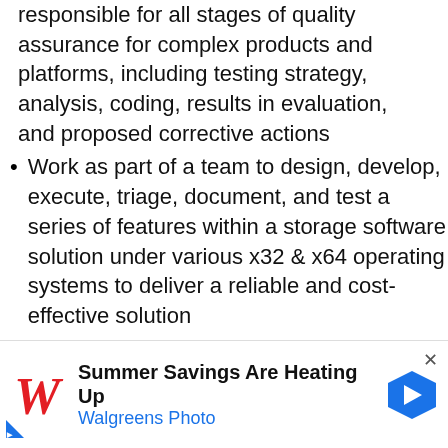responsible for all stages of quality assurance for complex products and platforms, including testing strategy, analysis, coding, results in evaluation, and proposed corrective actions
Work as part of a team to design, develop, execute, triage, document, and test a series of features within a storage software solution under various x32 & x64 operating systems to deliver a reliable and cost-effective solution
Understand product implementation reading functional specs, source code, and engineering discussions
Design and develop framework and
[Figure (other): Advertisement banner for Walgreens Photo: 'Summer Savings Are Heating Up' with Walgreens logo and a blue navigation arrow icon. Small ad disclosure triangle at bottom left. Close (x) button at top right.]